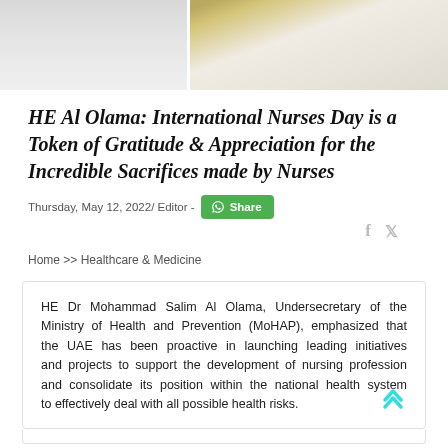[Figure (photo): Two official portraits side by side — left shows a person in white attire, right shows a person in gold-trimmed white uniform]
HE Al Olama: International Nurses Day is a Token of Gratitude & Appreciation for the Incredible Sacrifices made by Nurses
Thursday, May 12, 2022/ Editor -
Home >> Healthcare & Medicine
HE Dr Mohammad Salim Al Olama, Undersecretary of the Ministry of Health and Prevention (MoHAP), emphasized that the UAE has been proactive in launching leading initiatives and projects to support the development of nursing profession and consolidate its position within the national health system to effectively deal with all possible health risks.